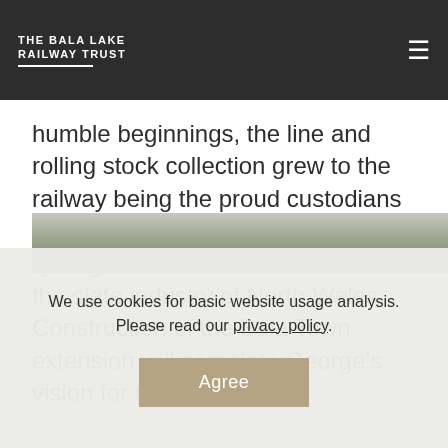THE BALA LAKE RAILWAY TRUST
humble beginnings, the line and rolling stock collection grew to the railway being the proud custodians of the largest collection of original Quarry Hunslet locomotives built for the slate industry of North Wales. Construction of the Bala Town extension will complete George's vision for the railway.
[Figure (photo): A black and white or faded photograph showing trees and landscape, partially visible at the bottom of the page behind the cookie consent overlay.]
We use cookies for basic website usage analysis. Please read our privacy policy. Agree